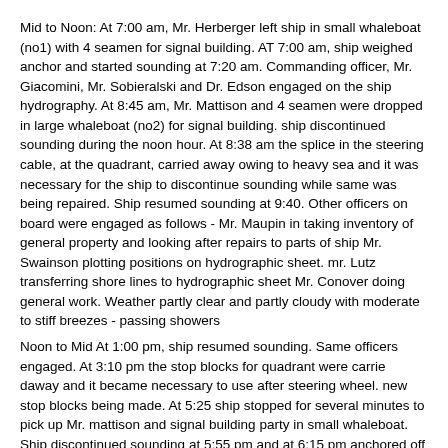Mid to Noon: At 7:00 am, Mr. Herberger left ship in small whaleboat (no1) with 4 seamen for signal building. AT 7:00 am, ship weighed anchor and started sounding at 7:20 am. Commanding officer, Mr. Giacomini, Mr. Sobieralski and Dr. Edson engaged on the ship hydrography. At 8:45 am, Mr. Mattison and 4 seamen were dropped in large whaleboat (no2) for signal building. ship discontinued sounding during the noon hour. At 8:38 am the splice in the steering cable, at the quadrant, carried away owing to heavy sea and it was necessary for the ship to discontinue sounding while same was being repaired. Ship resumed sounding at 9:40. Other officers on board were engaged as follows - Mr. Maupin in taking inventory of general property and looking after repairs to parts of ship Mr. Swainson plotting positions on hydrographic sheet. mr. Lutz transferring shore lines to hydrographic sheet Mr. Conover doing general work. Weather partly clear and partly cloudy with moderate to stiff breezes - passing showers
Noon to Mid At 1:00 pm, ship resumed sounding. Same officers engaged. At 3:10 pm the stop blocks for quadrant were carrie daway and it became necessary to use after steering wheel. new stop blocks being made. At 5:25 ship stopped for several minutes to pick up Mr. mattison and signal building party in small whaleboat. Ship discontinued sounding at 5:55 pm and at 6:15 pm anchored off Kekaa Pt in 15 fms of water, sandy bottom, with 45 fms of cable on starboard anchor. At 6:20 pm Mr. Herberger and signal building party returned to ship in large whaleboat. Whaleboat was hoisted and everything made secure for the night. Work of the forenoon was continued by officers and crew in afternoon. Weather partly clear and partly cloudy with fresh breezes to light breezes
50874f5e09d4090755027acd: (http://oldweather.s3.amazonaws.com/ow3/final/USCS Patterson/Book